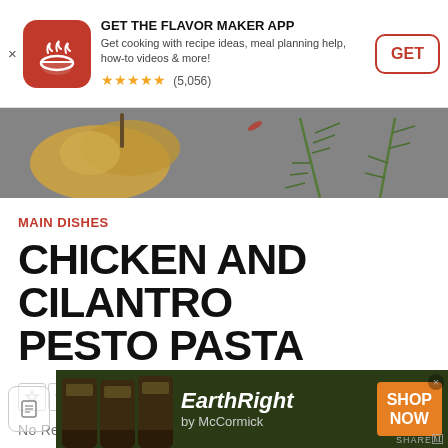[Figure (screenshot): App banner for Flavor Maker app with red icon, description, star rating (5,056 reviews), and GET button]
[Figure (photo): Hero food image showing yellow pepper and rosemary herb sprigs on gray surface]
MAIN DISHES
CHICKEN AND CILANTRO PESTO PASTA
0.0 stars, No Reviews | Write the First Review
[Figure (screenshot): EarthRight by McCormick advertisement banner with product jars and SHOP NOW button]